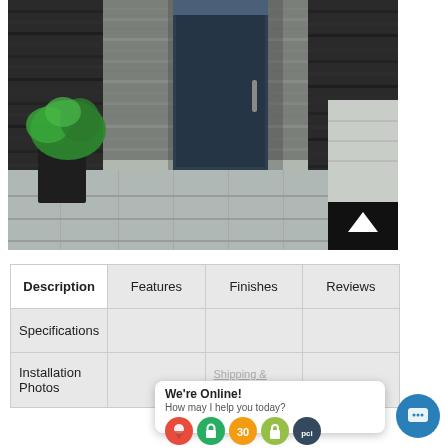[Figure (photo): Modern home entrance with dark stone wall cladding, grey paving tiles on the floor, a dark navy/black front door with handle, and a tall planter with green plant on the left. An up-arrow navigation button appears at the bottom right of the image.]
| Description | Features | Finishes | Reviews |
| --- | --- | --- | --- |
| Specifications | D... |  |  |
| Installation Photos |  | Shipping & Returns |  |
We're Online!
How may I help you today?
Shipping & Returns